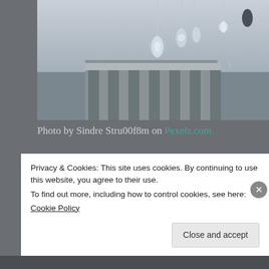[Figure (photo): Close-up photograph of hanging glass pendant lights / chandeliers against a blurred architectural background, in cool blue-gray tones.]
Photo by Sindre Stru00f8m on Pexels.com
I can't write with this cluttered mind
Too many tabs pulling at my attention
Structures of thought too often recede
Failig me when I most need comprehension
Privacy & Cookies: This site uses cookies. By continuing to use this website, you agree to their use.
To find out more, including how to control cookies, see here:
Cookie Policy
Close and accept